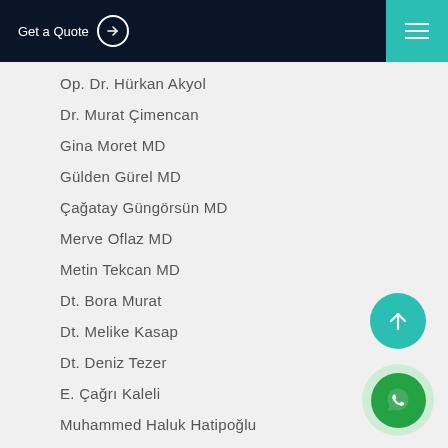Get a Quote
Op. Dr. Hürkan Akyol
Dr. Murat Çimencan
Gina Moret MD
Gülden Gürel MD
Çağatay Güngörsün MD
Merve Oflaz MD
Metin Tekcan MD
Dt. Bora Murat
Dt. Melike Kasap
Dt. Deniz Tezer
E. Çağrı Kaleli
Muhammed Haluk Hatipoğlu